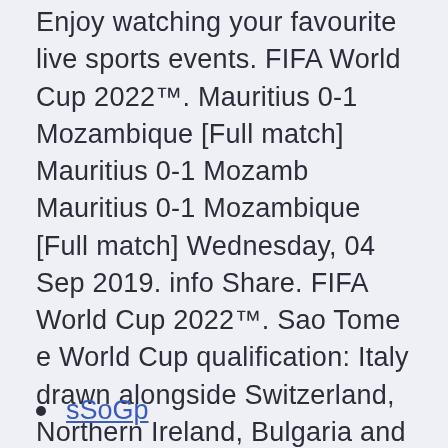Enjoy watching your favourite live sports events. FIFA World Cup 2022™. Mauritius 0-1 Mozambique [Full match] Mauritius 0-1 Mozamb Mauritius 0-1 Mozambique [Full match] Wednesday, 04 Sep 2019. info Share. FIFA World Cup 2022™. Sao Tome e World Cup qualification: Italy drawn alongside Switzerland, Northern Ireland, Bulgaria and Lithuania The qualifying draw for the 2022 World Cup in Qatar was held today.
sSoGp